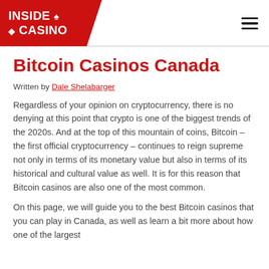INSIDE ♠ ◆ CASINO
Bitcoin Casinos Canada
Written by Dale Shelabarger
Regardless of your opinion on cryptocurrency, there is no denying at this point that crypto is one of the biggest trends of the 2020s. And at the top of this mountain of coins, Bitcoin – the first official cryptocurrency – continues to reign supreme not only in terms of its monetary value but also in terms of its historical and cultural value as well. It is for this reason that Bitcoin casinos are also one of the most common.
On this page, we will guide you to the best Bitcoin casinos that you can play in Canada, as well as learn a bit more about how one of the largest